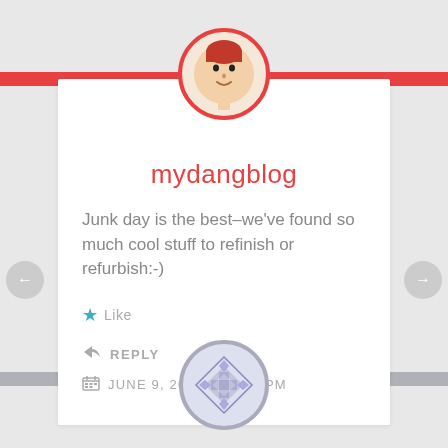[Figure (illustration): Cartoon avatar of a person with red hair inside a red-bordered circle, centered over a red horizontal bar at the top of a white comment card]
mydangblog
Junk day is the best–we've found so much cool stuff to refinish or refurbish:-)
Like
REPLY
JUNE 9, 2019 AT 9:20 PM
[Figure (illustration): Decorative quilt-like geometric pattern icon in a gray-bordered circle at the bottom, centered over a gray horizontal bar]